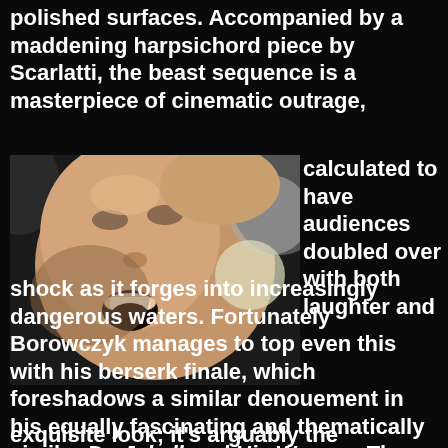polished surfaces. Accompanied by a maddening harpsichord piece by Scarlatti, the beast sequence is a masterpiece of cinematic outrage, calculated to have audiences doubled over with both laughter and shock as it forges into increasingly dangerous waters. Fortunately Borowczyk manages to top even this with his berserk finale, which foreshadows a similar denouement in his equally fascinating and thematically similar Dr. Jekyll and His Women. The whole film has a wonderfully polished, exquisite look; it's arguably the
[Figure (photo): Close-up film still showing a woman with an open mouth expression, appearing distressed or screaming, with pale skin and dramatic lighting against a dark background]